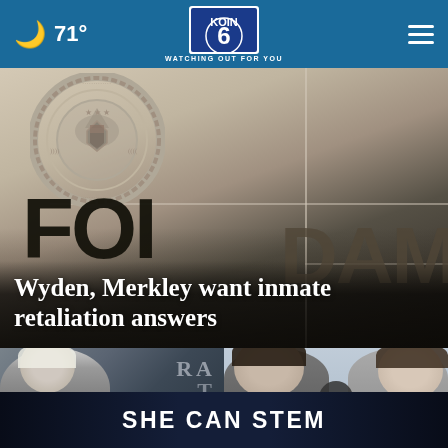71° KOIN 6 CBS WATCHING OUT FOR YOU
[Figure (photo): FBI building exterior showing partial FBI seal/emblem and large FOI letters on the building facade with tiled wall]
Wyden, Merkley want inmate retaliation answers
[Figure (photo): Elderly man outdoors near building with signage]
[Figure (photo): Two people side by side portrait style photo]
SHE CAN STEM